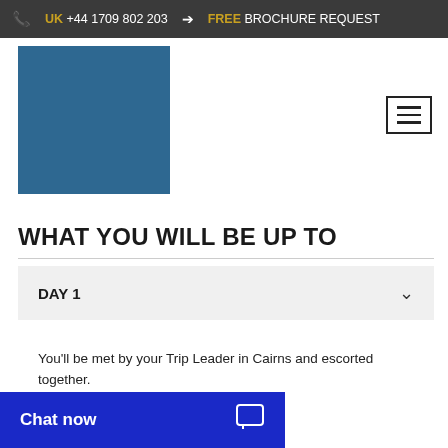📞 UK +44 1709 802 203 ➔ FREE BROCHURE REQUEST
[Figure (logo): Blue square logo placeholder for travel company]
[Figure (other): Hamburger menu icon button with three horizontal bars]
WHAT YOU WILL BE UP TO
DAY 1
You'll be met by your Trip Leader in Cairns and escorted together.
Chat now